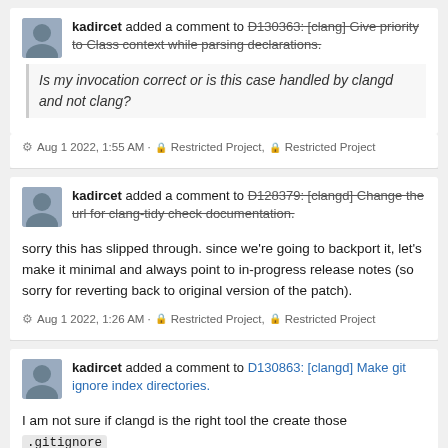kadircet added a comment to D130363: [clang] Give priority to Class context while parsing declarations.
Is my invocation correct or is this case handled by clangd and not clang?
Aug 1 2022, 1:55 AM · Restricted Project, Restricted Project
kadircet added a comment to D128379: [clangd] Change the url for clang-tidy check documentation.
sorry this has slipped through. since we're going to backport it, let's make it minimal and always point to in-progress release notes (so sorry for reverting back to original version of the patch).
Aug 1 2022, 1:26 AM · Restricted Project, Restricted Project
kadircet added a comment to D130863: [clangd] Make git ignore index directories.
I am not sure if clangd is the right tool the create those .gitignore